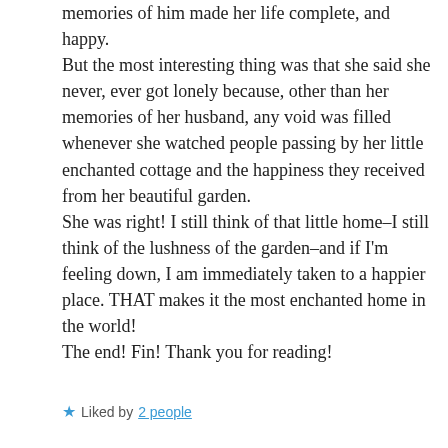memories of him made her life complete, and happy. But the most interesting thing was that she said she never, ever got lonely because, other than her memories of her husband, any void was filled whenever she watched people passing by her little enchanted cottage and the happiness they received from her beautiful garden. She was right! I still think of that little home–I still think of the lushness of the garden–and if I'm feeling down, I am immediately taken to a happier place. THAT makes it the most enchanted home in the world! The end! Fin! Thank you for reading!
★ Liked by 2 people
↳ REPLY
★ Julia
JULY 14, 2015 AT 5:24 AM